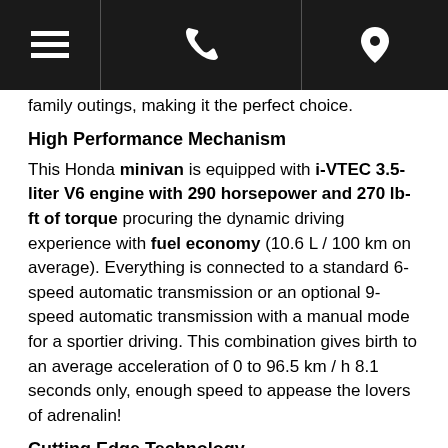[menu icon] [phone icon] [location icon]
family outings, making it the perfect choice.
High Performance Mechanism
This Honda minivan is equipped with i-VTEC 3.5-liter V6 engine with 290 horsepower and 270 lb-ft of torque procuring the dynamic driving experience with fuel economy (10.6 L / 100 km on average). Everything is connected to a standard 6-speed automatic transmission or an optional 9-speed automatic transmission with a manual mode for a sportier driving. This combination gives birth to an average acceleration of 0 to 96.5 km / h 8.1 seconds only, enough speed to appease the lovers of adrenalin!
Cutting Edge Technology
The 2017 Honda Odyssey is designed to provide a safe and comfortable ride for the passengers and comes with the standard classic and most recent technological features. LaneWatch system, CMBS system, Lane Departure Warning system, rear entertainment system with DVD player and ultra-wide display, the navigation system connected by satellite and